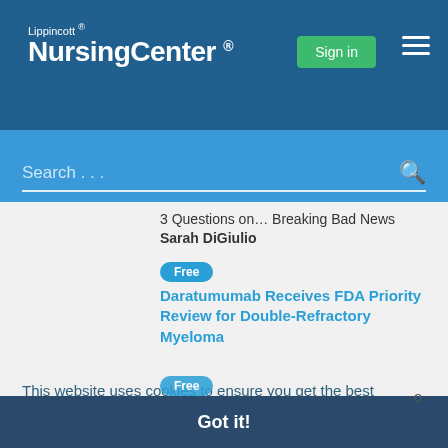Lippincott® NursingCenter®
Search...
3 Questions on… Breaking Bad News
Sarah DiGiulio
Free
Daratumumab Receives FDA Priority Review for Double-Refractory Myeloma
This website uses cookies to ensure you get the best experience on our website. Learn more
Got it!
Free